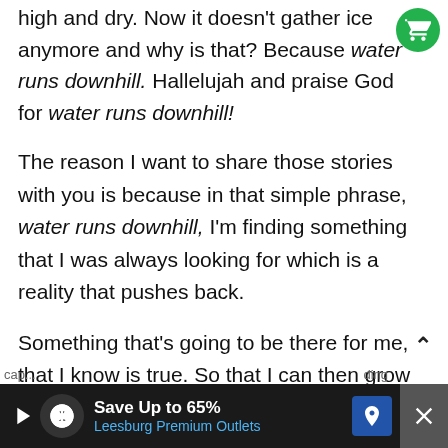high and dry. Now it doesn't gather ice anymore and why is that? Because water runs downhill. Hallelujah and praise God for water runs downhill!
The reason I want to share those stories with you is because in that simple phrase, water runs downhill, I'm finding something that I was always looking for which is a reality that pushes back.
Something that's going to be there for me, that I know is true. So that I can then grow against it. I can become more responsible. I can become a more
[Figure (screenshot): Advertisement banner: Save Up to 65% Leesburg Premium Outlets with navigation and close icons]
cap... ding